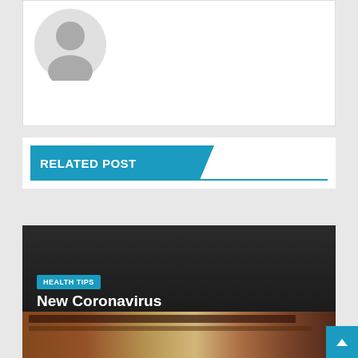[Figure (illustration): Default user avatar icon (gray silhouette on white background) in top-left of card]
RELATED POST
[Figure (photo): Dark article card with teal HEALTH TIPS tag, bold white title 'New Coronavirus Circumstances Of Unknown', date APR 21, 2022 and author ADIANTKU]
HEALTH TIPS
New Coronavirus Circumstances Of Unknown
APR 21, 2022   ADIANTKU
[Figure (photo): Partially visible image at the bottom of the page (cropped)]